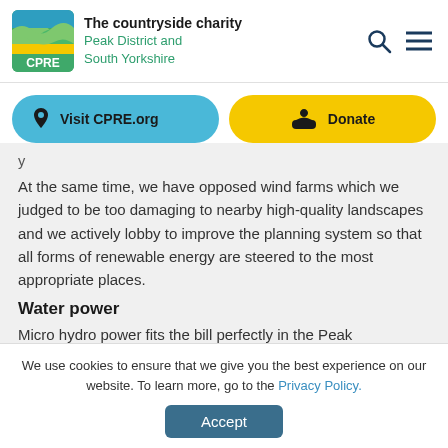The countryside charity Peak District and South Yorkshire
Visit CPRE.org
Donate
At the same time, we have opposed wind farms which we judged to be too damaging to nearby high-quality landscapes and we actively lobby to improve the planning system so that all forms of renewable energy are steered to the most appropriate places.
Water power
Micro hydro power fits the bill perfectly in the Peak
We use cookies to ensure that we give you the best experience on our website. To learn more, go to the Privacy Policy.